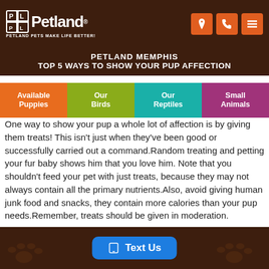Petland — PETLAND PETS MAKE LIFE BETTER!
PETLAND MEMPHIS
TOP 5 WAYS TO SHOW YOUR PUP AFFECTION
Available Puppies
Our Birds
Our Reptiles
Small Animals
One way to show your pup a whole lot of affection is by giving them treats! This isn't just when they've been good or successfully carried out a command.Random treating and petting your fur baby shows him that you love him. Note that you shouldn't feed your pet with just treats, because they may not always contain all the primary nutrients.Also, avoid giving human junk food and snacks, they contain more calories than your pup needs.Remember, treats should be given in moderation.
Text Us